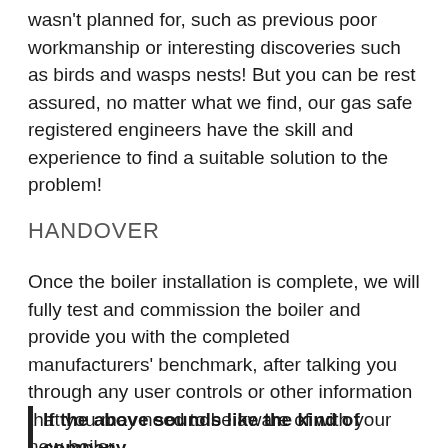wasn't planned for, such as previous poor workmanship or interesting discoveries such as birds and wasps nests! But you can be rest assured, no matter what we find, our gas safe registered engineers have the skill and experience to find a suitable solution to the problem!
HANDOVER
Once the boiler installation is complete, we will fully test and commission the boiler and provide you with the completed manufacturers' benchmark, after talking you through any user controls or other information that you may need to be aware of with your new boiler.
If the above sounds like the kind of company